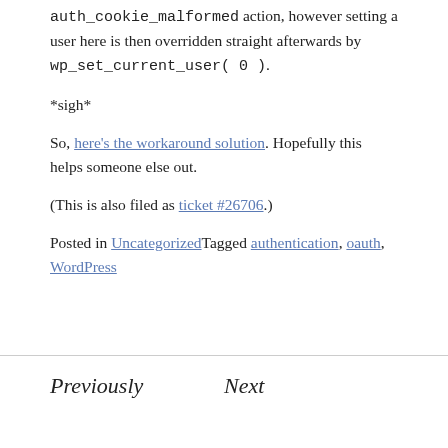auth_cookie_malformed action, however setting a user here is then overridden straight afterwards by wp_set_current_user( 0 ).
*sigh*
So, here's the workaround solution. Hopefully this helps someone else out.
(This is also filed as ticket #26706.)
Posted in UncategorizedTagged authentication, oauth, WordPress
Previously
Next